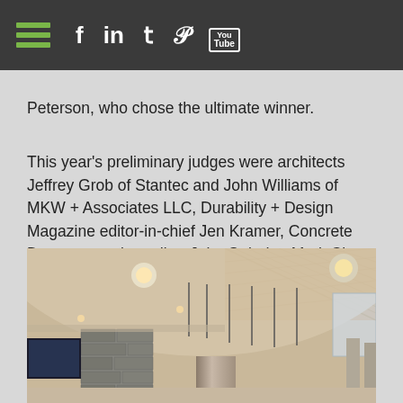Navigation bar with hamburger menu and social icons: Facebook, LinkedIn, Twitter, Pinterest, YouTube
Peterson, who chose the ultimate winner.
This year's preliminary judges were architects Jeffrey Grob of Stantec and John Williams of MKW + Associates LLC, Durability + Design Magazine editor-in-chief Jen Kramer, Concrete Decor magazine editor John Strieder, Mark Chew of Logan Contractors Supply Inc. and Mike Harrington of Chas. E. Phipps Co.
Concrete Decor took a closer look at this year's grand prize winner and three of the finalists. Here's what we uncovered ...
[Figure (photo): Interior photo of a modern building lobby with curved walls, recessed ceiling lights, pendant lights hanging from ceiling, wood lattice ceiling panels, stone accent wall, and cylindrical column elements]